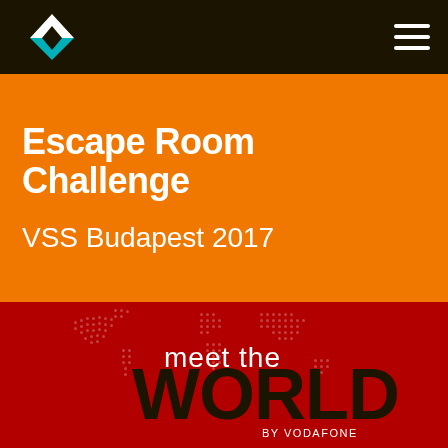Navigation bar with logo and hamburger menu
Escape Room Challenge
VSS Budapest 2017
[Figure (logo): Vodafone 'meet the WORLD' logo with dotted world map on dark red background, text reads 'meet the WORLD BY VODAFONE']